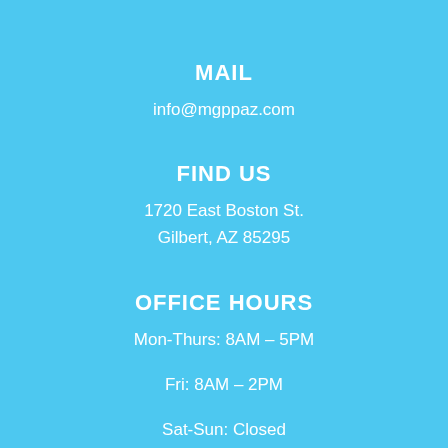MAIL
info@mgppaz.com
FIND US
1720 East Boston St.
Gilbert, AZ 85295
OFFICE HOURS
Mon-Thurs: 8AM – 5PM
Fri: 8AM – 2PM
Sat-Sun: Closed